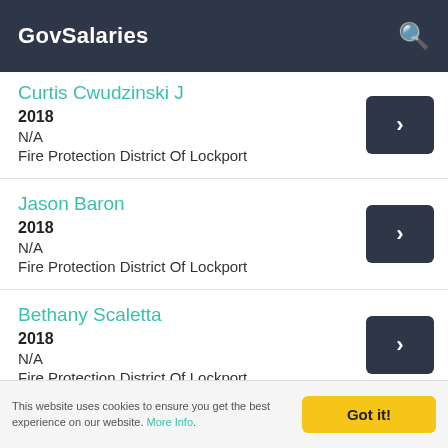GovSalaries
Curtis Cwudzinski J | 2018 | N/A | Fire Protection District Of Lockport
Jason Baron | 2018 | N/A | Fire Protection District Of Lockport
Bethany Scaletta | 2018 | N/A | Fire Protection District Of Lockport
This website uses cookies to ensure you get the best experience on our website. More Info.